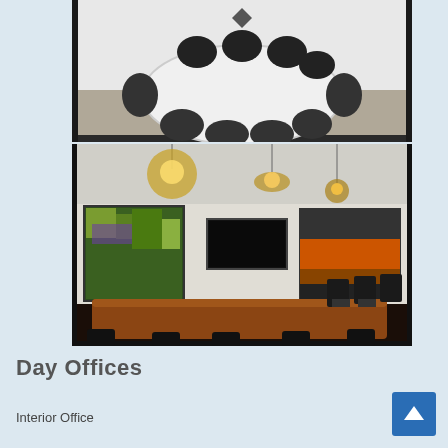[Figure (photo): Top photo: Conference room with oval white table surrounded by black leather chairs, white walls]
[Figure (photo): Bottom photo: Larger conference room with long rectangular dark wood table, black mesh chairs, pendant lighting, artwork on walls, wall-mounted TV screen]
Day Offices
Interior Office